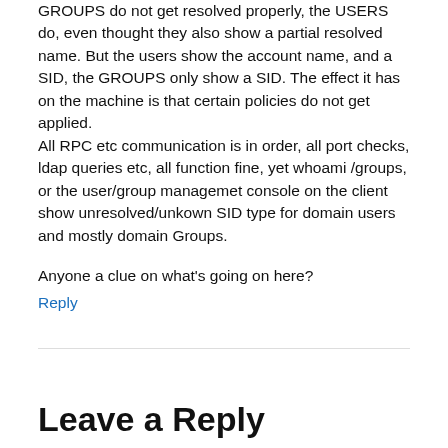GROUPS do not get resolved properly, the USERS do, even thought they also show a partial resolved name. But the users show the account name, and a SID, the GROUPS only show a SID. The effect it has on the machine is that certain policies do not get applied.
All RPC etc communication is in order, all port checks, ldap queries etc, all function fine, yet whoami /groups, or the user/group managemet console on the client show unresolved/unkown SID type for domain users and mostly domain Groups.
Anyone a clue on what’s going on here?
Reply
Leave a Reply